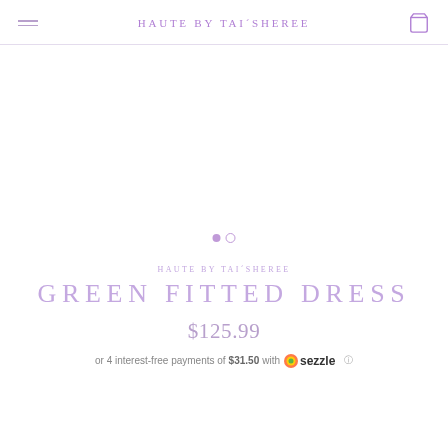HAUTE BY TAI'SHEREE
[Figure (other): Product image area (blank/white) with carousel dot indicators showing first dot filled and second dot outline]
HAUTE BY TAI'SHEREE
GREEN FITTED DRESS
$125.99
or 4 interest-free payments of $31.50 with sezzle ℹ